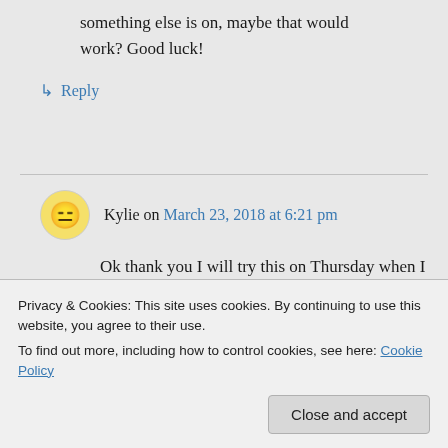something else is on, maybe that would work? Good luck!
↳ Reply
Kylie on March 23, 2018 at 6:21 pm
Ok thank you I will try this on Thursday when I babysit him next and if it works I will let his parents know about it.
Privacy & Cookies: This site uses cookies. By continuing to use this website, you agree to their use.
To find out more, including how to control cookies, see here: Cookie Policy
Close and accept